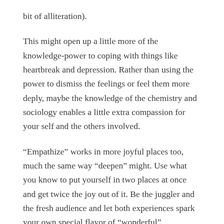bit of alliteration).
This might open up a little more of the knowledge-power to coping with things like heartbreak and depression. Rather than using the power to dismiss the feelings or feel them more deply, maybe the knowledge of the chemistry and sociology enables a little extra compassion for your self and the others involved.
“Empathize” works in more joyful places too, much the same way “deepen” might. Use what you know to put yourself in two places at once and get twice the joy out of it. Be the juggler and the fresh audience and let both experiences spark your own special flavor of “wonderful”